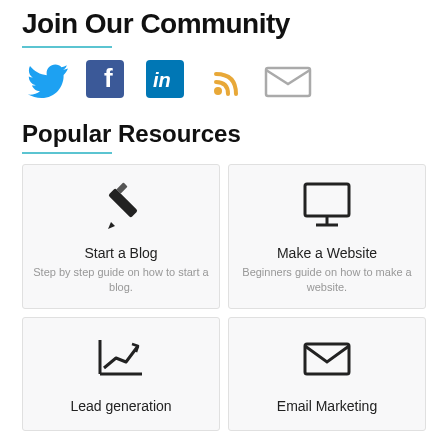Join Our Community
[Figure (infographic): Social media icons: Twitter (blue bird), Facebook (blue F), LinkedIn (blue in), RSS (orange feed), Email (envelope)]
Popular Resources
[Figure (infographic): Card with pencil icon, title: Start a Blog, description: Step by step guide on how to start a blog.]
[Figure (infographic): Card with monitor icon, title: Make a Website, description: Beginners guide on how to make a website.]
[Figure (infographic): Card with line chart/growth icon, title: Lead generation]
[Figure (infographic): Card with envelope icon, title: Email Marketing]